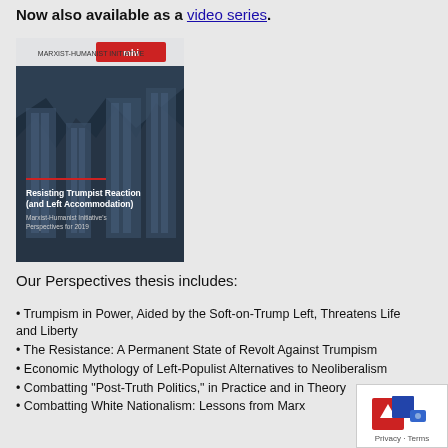Now also available as a video series.
[Figure (photo): Book cover of 'Resisting Trumpist Reaction (and Left Accommodation): Marxist-Humanist Initiative's Perspectives for 2019' with dark blue architectural background and MHI logo]
Our Perspectives thesis includes:
Trumpism in Power, Aided by the Soft-on-Trump Left, Threatens Life and Liberty
The Resistance: A Permanent State of Revolt Against Trumpism
Economic Mythology of Left-Populist Alternatives to Neoliberalism
Combatting “Post-Truth Politics,” in Practice and in Theory
Combatting White Nationalism: Lessons from Marx